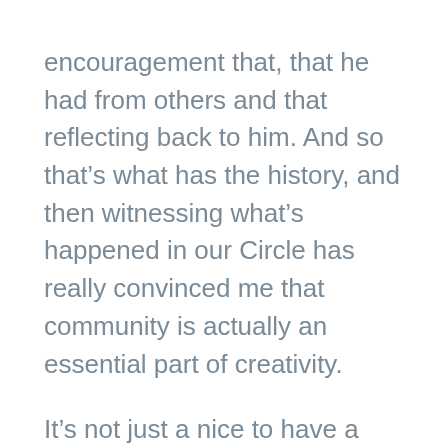encouragement that, that he had from others and that reflecting back to him. And so that’s what has the history, and then witnessing what’s happened in our Circle has really convinced me that community is actually an essential part of creativity.
It’s not just a nice to have a little extra thing it’s actually crucial. And, and for some of us, we may have to cultivate that deliberately. We may be in a community that doesn’t see the vision that we see, or they have a different mindset that will not